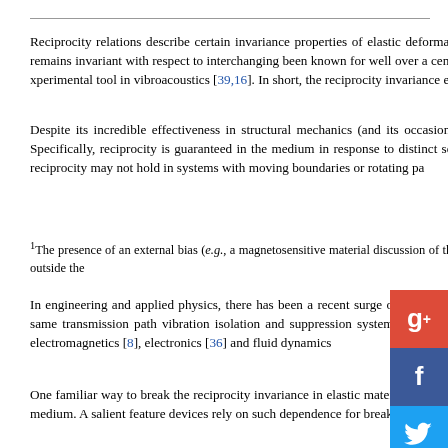Reciprocity relations describe certain invariance properties of elastic deformations of a system to an external point load remains invariant with respect to interchanging been known for well over a century [23,38], it persists in the presence of e... experimental tool in vibroacoustics [39,16]. In short, the reciprocity invariance en...
Despite its incredible effectiveness in structural mechanics (and its occa... conditions are satisfied in the medium. Specifically, reciprocity is guaranteed in the medium in response to distinct sets of loading conditions [1,29]. Deviation... reciprocity may not hold in systems with moving boundaries or rotating pa...
1The presence of an external bias (e.g., a magnetosensitive materia... discussion of these intricacies, available elsewhere [33], falls outside the...
In engineering and applied physics, there has been a recent surge of... to travel differently in opposite directions along the same transmission pa... vibration isolation and suppression systems, energy harvesting mechani... in mechanics [33], electromagnetics [8], electronics [36] and fluid dynami...
One familiar way to break the reciprocity invariance in elastic mate... between the restoring force and deformations in a medium. A salient fea... devices rely on such dependence for breaking reciprocity by means of no...
Although the reciprocity invariance does not generally hold in nonlinear sys... nonlinear mechanism responsible for breaking reciprocity, it is necessary to h... symmetry remains trivially invariant when the locations of the source and receive... inertial or elastic properties in a region of an otherwise homogeneous medium D... [27,18]. Note that this notion of symmetry refers to the geometry and material...